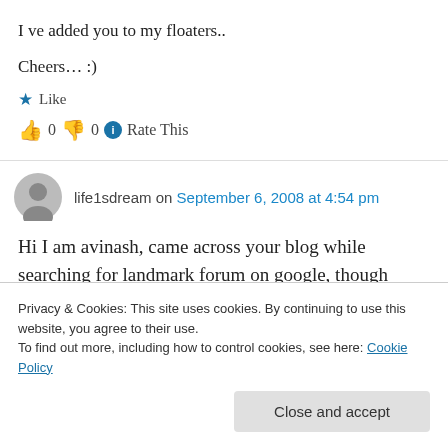I ve added you to my floaters..
Cheers… :)
★ Like
👍 0 👎 0 ℹ Rate This
life1sdream on September 6, 2008 at 4:54 pm
Hi I am avinash, came across your blog while searching for landmark forum on google, though
Privacy & Cookies: This site uses cookies. By continuing to use this website, you agree to their use.
To find out more, including how to control cookies, see here: Cookie Policy
Close and accept
month I am joining advance course..